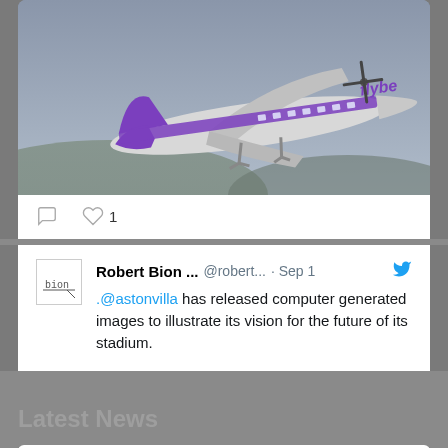[Figure (photo): A Flybe branded turboprop aircraft with purple livery taking off against a grey sky]
1 (like count with heart icon)
[Figure (photo): Avatar/logo for Robert Bion, showing 'bion' text with line]
Robert Bion ... @robert... · Sep 1
.@astonvilla has released computer generated images to illustrate its vision for the future of its stadium.
Latest News
[Figure (logo): The Manufacturer Top 100 red logo thumbnail showing 'DP 10' and 'GURE']
The Manufacturer Top 100 2018 Press Release
6th February 2019